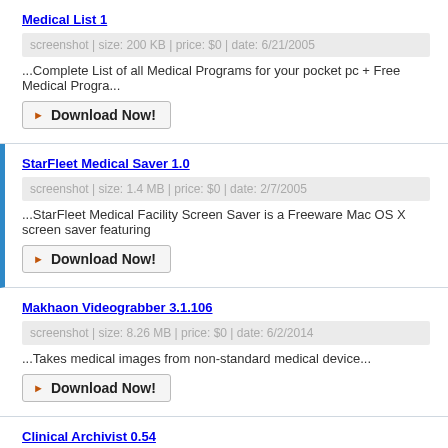Medical List 1
screenshot | size: 200 KB | price: $0 | date: 6/21/2005
...Complete List of all Medical Programs for your pocket pc + Free Medical Progra...
Download Now!
StarFleet Medical Saver 1.0
screenshot | size: 1.4 MB | price: $0 | date: 2/7/2005
...StarFleet Medical Facility Screen Saver is a Freeware Mac OS X screen saver featuring
Download Now!
Makhaon Videograbber 3.1.106
screenshot | size: 8.26 MB | price: $0 | date: 6/2/2014
...Takes medical images from non-standard medical device...
Download Now!
Clinical Archivist 0.54
screenshot | size: 88.79 MB | price: $160 | date: 11/3/2014